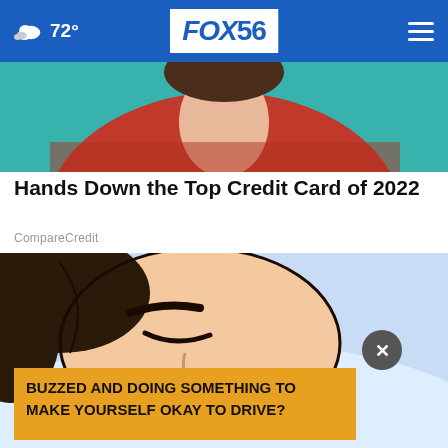72° FOX56
[Figure (photo): Partial photo of a person in a red turtleneck sweater against teal background, cropped showing neck and shoulders]
Hands Down the Top Credit Card of 2022
CompareCredit
[Figure (illustration): Comic/illustration style image of a woman sleeping on a pillow, eyes closed, with an advertisement banner overlay reading BUZZED AND DOING SOMETHING TO MAKE YOURSELF OKAY TO DRIVE?]